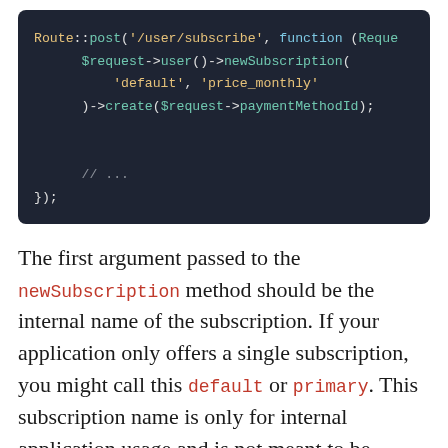[Figure (screenshot): Dark-themed code block showing PHP Laravel route with newSubscription call]
The first argument passed to the newSubscription method should be the internal name of the subscription. If your application only offers a single subscription, you might call this default or primary. This subscription name is only for internal application usage and is not meant to be shown to users. In addition, it should not contain spaces and it should never be changed